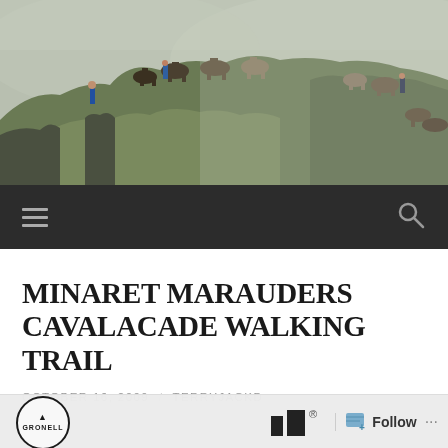[Figure (photo): Horses and people walking along a misty hillside ridge in rugged terrain. Multiple pack horses with riders or handlers are visible strung along the crest of a steep grassy hill against a foggy mountain backdrop.]
Menu / Search navigation bar
MINARET MARAUDERS CAVALACADE WALKING TRAIL
OCTOBER 16, 2009 / TERRYJACKD
[Figure (logo): Partial circular logo reading GRONELL at bottom of page, and partial rectangular logo with registered trademark symbol.]
Follow ...